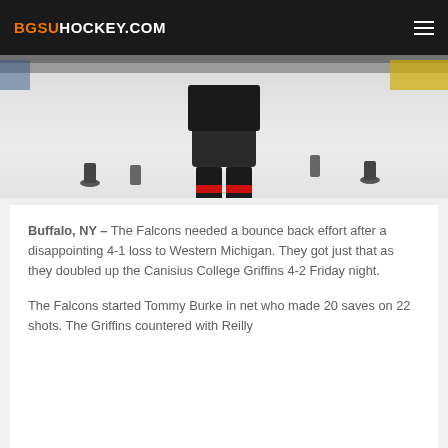BGSUHOCKEY.COM
[Figure (photo): Hockey player on ice, shown from waist down wearing dark pants and red-striped socks/skates, with other skaters visible in background]
Buffalo, NY – The Falcons needed a bounce back effort after a disappointing 4-1 loss to Western Michigan. They got just that as they doubled up the Canisius College Griffins 4-2 Friday night.
The Falcons started Tommy Burke in net who made 20 saves on 22 shots. The Griffins countered with Reilly